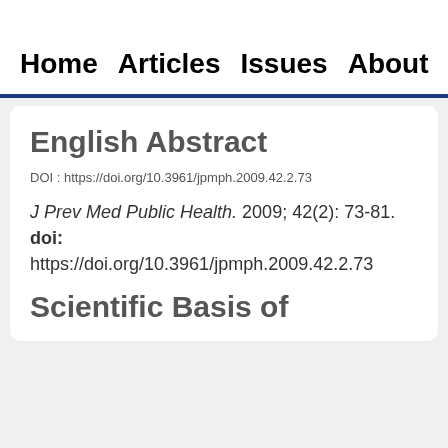Home  Articles  Issues  About
English Abstract
DOI : https://doi.org/10.3961/jpmph.2009.42.2.73
J Prev Med Public Health. 2009; 42(2): 73-81.
doi:
https://doi.org/10.3961/jpmph.2009.42.2.73
Scientific Basis of